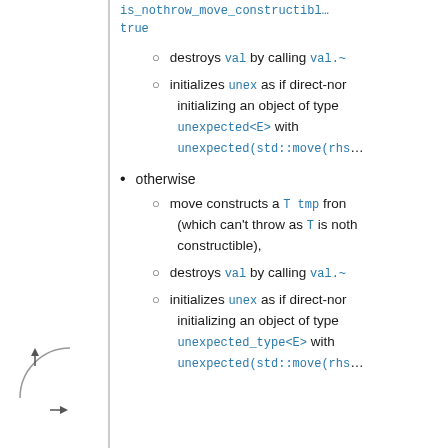is_nothrow_move_constructible
true
destroys val by calling val.~
initializes unex as if direct-non-initializing an object of type unexpected<E> with unexpected(std::move(rhs
otherwise
move constructs a T tmp from (which can't throw as T is nothrow constructible),
destroys val by calling val.~
initializes unex as if direct-non-initializing an object of type unexpected_type<E> with unexpected(std::move(rhs